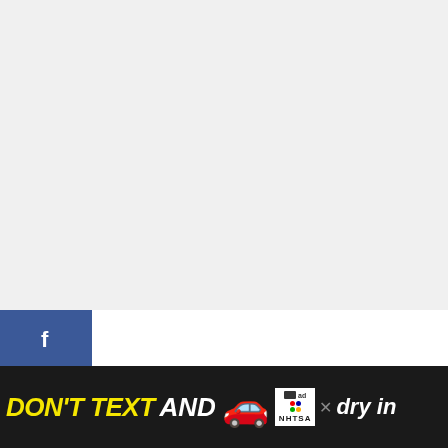[Figure (other): Gray empty area at top of page]
ros:
You can wash and dry all of your clothes at the same time – most laundromats have an overabundance of machines, which allows you to use several machines at once if you need to. It can
[Figure (other): Social media sidebar with Facebook, Twitter, Pinterest buttons and 431 shares count]
[Figure (other): Heart/like button showing 434 and share icon on right side]
[Figure (other): What's Next widget showing AllStays Camp and RV App article]
[Figure (other): Advertisement banner at bottom: DON'T TEXT AND with car emoji and NHTSA logo]